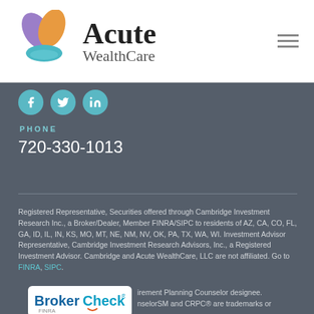[Figure (logo): Acute WealthCare logo with stylized leaf/petal icon in purple, orange, and teal colors, and company name in serif font]
PHONE
720-330-1013
Registered Representative, Securities offered through Cambridge Investment Research Inc., a Broker/Dealer, Member FINRA/SIPC to residents of AZ, CA, CO, FL, GA, ID, IL, IN, KS, MO, MT, NE, NM, NV, OK, PA, TX, WA, WI. Investment Advisor Representative, Cambridge Investment Research Advisors, Inc., a Registered Investment Advisor. Cambridge and Acute WealthCare, LLC are not affiliated. Go to FINRA, SIPC.
[Figure (logo): BrokerCheck logo with FINRA branding]
irement Planning Counselor designee.
nselorSM and CRPC® are trademarks or